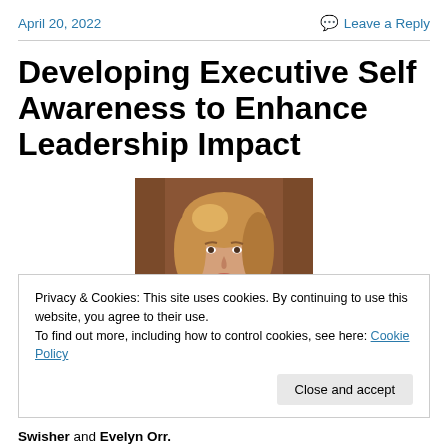April 20, 2022   Leave a Reply
Developing Executive Self Awareness to Enhance Leadership Impact
[Figure (photo): Headshot of a woman with blonde hair, smiling, against a brown background]
Privacy & Cookies: This site uses cookies. By continuing to use this website, you agree to their use.
To find out more, including how to control cookies, see here: Cookie Policy
Close and accept
Swisher and Evelyn Orr.